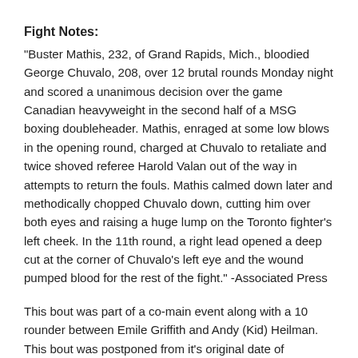Fight Notes:
"Buster Mathis, 232, of Grand Rapids, Mich., bloodied George Chuvalo, 208, over 12 brutal rounds Monday night and scored a unanimous decision over the game Canadian heavyweight in the second half of a MSG boxing doubleheader. Mathis, enraged at some low blows in the opening round, charged at Chuvalo to retaliate and twice shoved referee Harold Valan out of the way in attempts to return the fouls. Mathis calmed down later and methodically chopped Chuvalo down, cutting him over both eyes and raising a huge lump on the Toronto fighter's left cheek. In the 11th round, a right lead opened a deep cut at the corner of Chuvalo's left eye and the wound pumped blood for the rest of the fight." -Associated Press
This bout was part of a co-main event along with a 10 rounder between Emile Griffith and Andy (Kid) Heilman. This bout was postponed from it's original date of December 6th, 1968 due to Chuvalo injuring a finger on his left hand.
Post fight comments: